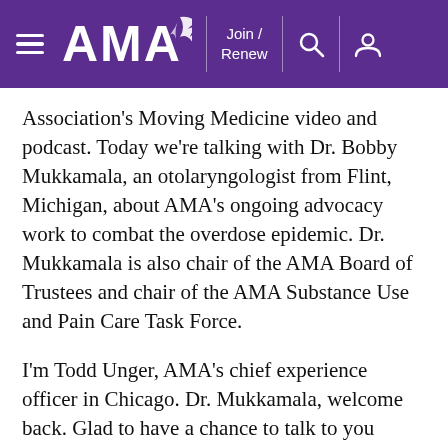AMA — Join / Renew
Association's Moving Medicine video and podcast. Today we're talking with Dr. Bobby Mukkamala, an otolaryngologist from Flint, Michigan, about AMA's ongoing advocacy work to combat the overdose epidemic. Dr. Mukkamala is also chair of the AMA Board of Trustees and chair of the AMA Substance Use and Pain Care Task Force.
I'm Todd Unger, AMA's chief experience officer in Chicago. Dr. Mukkamala, welcome back. Glad to have a chance to talk to you because we got some updates in the world, especially with trends regarding overdose deaths. And that's what we're going to be talking about here and what the AMA